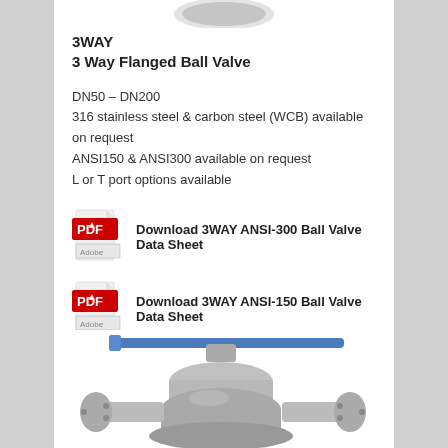[Figure (photo): Partial top view of a flanged ball valve]
3WAY
3 Way Flanged Ball Valve
DN50 – DN200
316 stainless steel & carbon steel (WCB) available on request
ANSI150 & ANSI300 available on request
L or T port options available
[Figure (logo): Adobe PDF icon]
Download 3WAY ANSI-300 Ball Valve Data Sheet
[Figure (logo): Adobe PDF icon]
Download 3WAY ANSI-150 Ball Valve Data Sheet
[Figure (photo): Bottom portion of a 3-way flanged ball valve with blue handle]